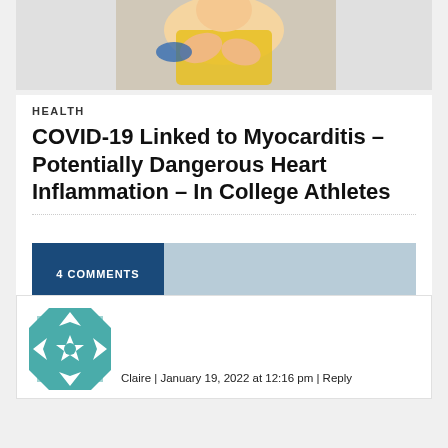[Figure (photo): Person in athletic wear holding their chest, suggesting chest pain or heart discomfort]
HEALTH
COVID-19 Linked to Myocarditis – Potentially Dangerous Heart Inflammation – In College Athletes
4 COMMENTS
[Figure (illustration): Teal and white geometric quilt-pattern avatar icon for commenter Claire]
Claire | January 19, 2022 at 12:16 pm | Reply